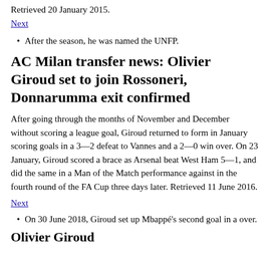Retrieved 20 January 2015.
Next
After the season, he was named the UNFP.
AC Milan transfer news: Olivier Giroud set to join Rossoneri, Donnarumma exit confirmed
After going through the months of November and December without scoring a league goal, Giroud returned to form in January scoring goals in a 3—2 defeat to Vannes and a 2—0 win over. On 23 January, Giroud scored a brace as Arsenal beat West Ham 5—1, and did the same in a Man of the Match performance against in the fourth round of the FA Cup three days later. Retrieved 11 June 2016.
Next
On 30 June 2018, Giroud set up Mbappé's second goal in a over.
Olivier Giroud